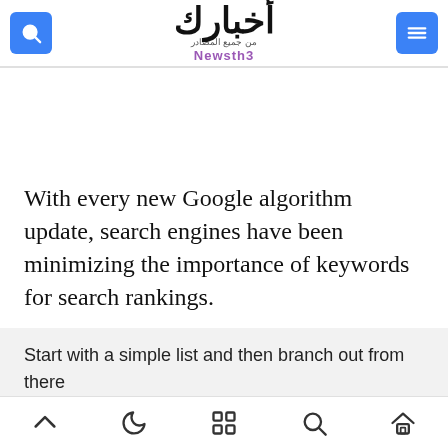أخبارك | Newsth3
With every new Google algorithm update, search engines have been minimizing the importance of keywords for search rankings.
Start with a simple list and then branch out from there
Bottom navigation bar with icons: up arrow, moon, grid, search, home